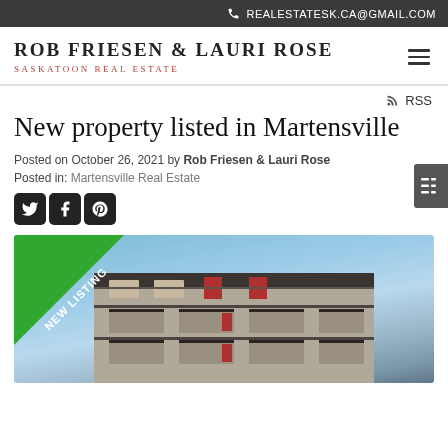REALESTATESK.CA@GMAIL.COM
ROB FRIESEN & LAURI ROSE
SASKATOON REAL ESTATE
RSS
New property listed in Martensville
Posted on October 26, 2021 by Rob Friesen & Lauri Rose
Posted in: Martensville Real Estate
[Figure (screenshot): Social share icons for Twitter, Facebook, and Pinterest]
[Figure (photo): Photo of a modern multi-storey residential building with balconies under a blue sky, with a green NEW LISTING banner in the top-left corner]